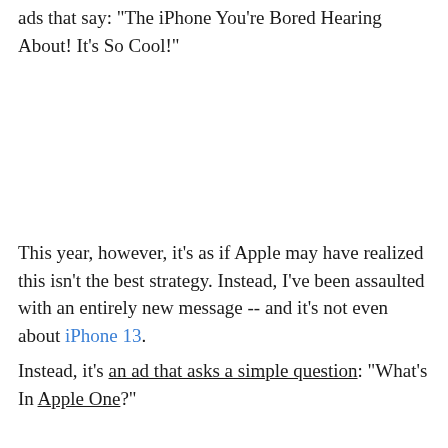ads that say: "The iPhone You're Bored Hearing About! It's So Cool!"
This year, however, it's as if Apple may have realized this isn't the best strategy. Instead, I've been assaulted with an entirely new message -- and it's not even about iPhone 13.
Instead, it's an ad that asks a simple question: "What's In Apple One?"